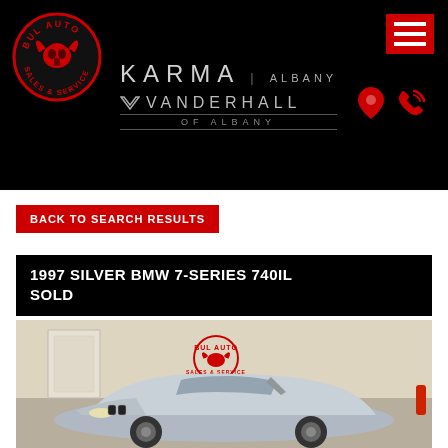[Figure (logo): Bul Auto Sales & Service logo — red bull skull graphic in circular badge on black background]
[Figure (logo): Hamburger menu icon — red square with three white horizontal bars]
[Figure (logo): Karma Albany and Vanderhall of Albany dealership brand logos on black background with location pin and phone icons]
BACK TO SEARCH RESULTS
1997 SILVER BMW 7-SERIES 740IL SOLD
[Figure (photo): Silver 1997 BMW 7-Series 740iL parked inside a garage showroom with Bul Auto Sales & Service logo on wall behind]